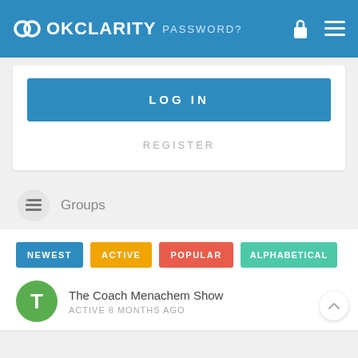OKClarity — navigation bar with logo, lock icon, and menu
PASSWORD?
LOG IN
REGISTER
Groups
NEWEST  ACTIVE  POPULAR  ALPHABETICAL
The Coach Menachem Show
ACTIVE 8 MONTHS AGO